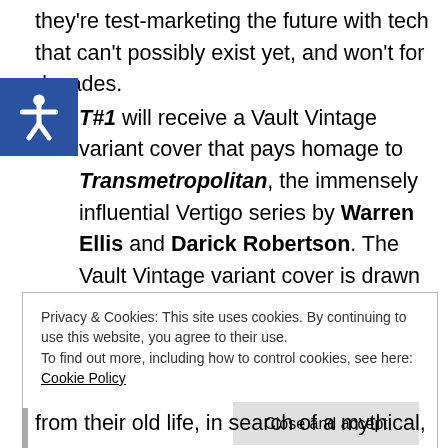they're test-marketing the future with tech that can't possibly exist yet, and won't for decades.
TEST#1 will receive a Vault Vintage variant cover that pays homage to Transmetropolitan, the immensely influential Vertigo series by Warren Ellis and Darick Robertson. The Vault Vintage variant cover is drawn and designed by Nathan Gooden and Tim Daniel.
TEST #1 hits store shelves on June 26th, 2019. The official synopsis is below:
Privacy & Cookies: This site uses cookies. By continuing to use this website, you agree to their use.
To find out more, including how to control cookies, see here: Cookie Policy

Close and accept
from their old life, in search of a mythical,